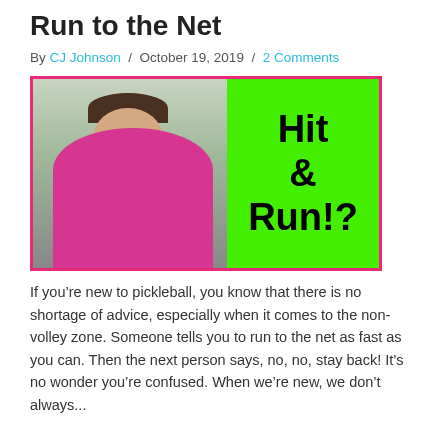Run to the Net
By CJ Johnson / October 19, 2019 / 2 Comments
[Figure (photo): A woman in a pink jacket smiling at a tennis court, with a bright green panel on the right showing the text 'Hit & Run!?' in bold black letters. The image has a pink/magenta border.]
If you’re new to pickleball, you know that there is no shortage of advice, especially when it comes to the non-volley zone. Someone tells you to run to the net as fast as you can. Then the next person says, no, no, stay back! It’s no wonder you’re confused. When we’re new, we don’t always...